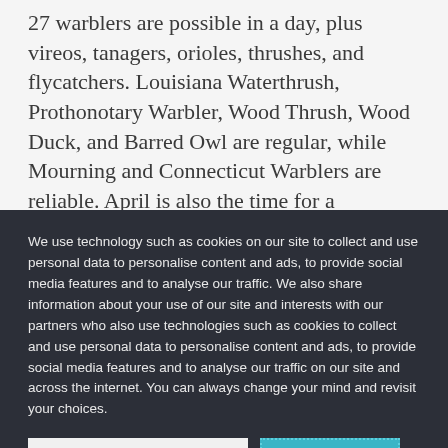27 warblers are possible in a day, plus vireos, tanagers, orioles, thrushes, and flycatchers. Louisiana Waterthrush, Prothonotary Warbler, Wood Thrush, Wood Duck, and Barred Owl are regular, while Mourning and Connecticut Warblers are reliable. April is also the time for a
We use technology such as cookies on our site to collect and use personal data to personalise content and ads, to provide social media features and to analyse our traffic. We also share information about your use of our site and interests with our partners who also use technologies such as cookies to collect and use personal data to personalise content and ads, to provide social media features and to analyse our traffic on our site and across the internet. You can always change your mind and revisit your choices.